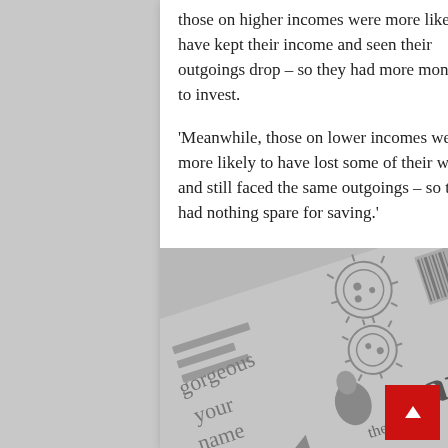those on higher incomes were more likely to have kept their income and seen their outgoings drop – so they had more money to invest.
'Meanwhile, those on lower incomes were more likely to have lost some of their wages and still faced the same outgoings – so they had nothing spare for saving.'
[Figure (photo): Grayscale photo of a newspaper (The Guardian) with coronavirus imagery visible, showing a person and decorative circular designs]